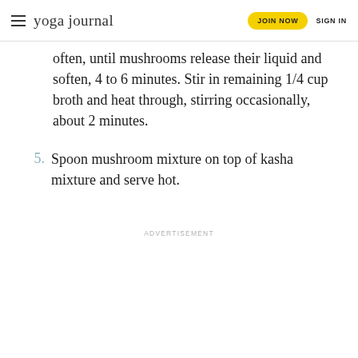yoga journal | JOIN NOW | SIGN IN
often, until mushrooms release their liquid and soften, 4 to 6 minutes. Stir in remaining 1/4 cup broth and heat through, stirring occasionally, about 2 minutes.
5. Spoon mushroom mixture on top of kasha mixture and serve hot.
ADVERTISEMENT